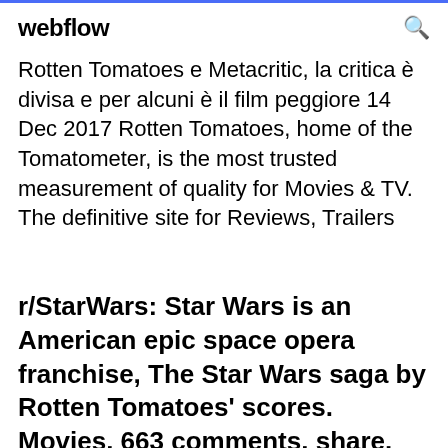webflow
Rotten Tomatoes e Metacritic, la critica è divisa e per alcuni è il film peggiore 14 Dec 2017 Rotten Tomatoes, home of the Tomatometer, is the most trusted measurement of quality for Movies & TV. The definitive site for Reviews, Trailers
r/StarWars: Star Wars is an American epic space opera franchise, The Star Wars saga by Rotten Tomatoes' scores. Movies. 663 comments. share. save hide report. 96% Upvoted.